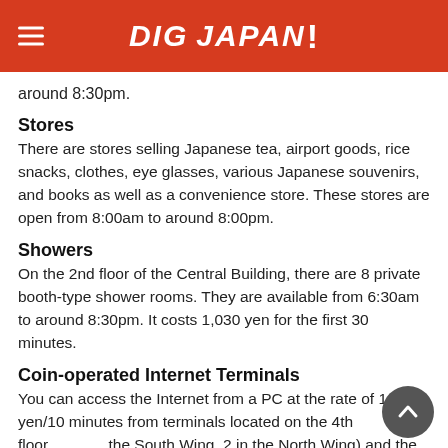DiGJAPAN!
around 8:30pm.
Stores
There are stores selling Japanese tea, airport goods, rice snacks, clothes, eye glasses, various Japanese souvenirs, and books as well as a convenience store. These stores are open from 8:00am to around 8:00pm.
Showers
On the 2nd floor of the Central Building, there are 8 private booth-type shower rooms. They are available from 6:30am to around 8:30pm. It costs 1,030 yen for the first 30 minutes.
Coin-operated Internet Terminals
You can access the Internet from a PC at the rate of 1 yen/10 minutes from terminals located on the 4th floor (3 in the South Wing, 2 in the North Wing) and the 1st floor (3 in